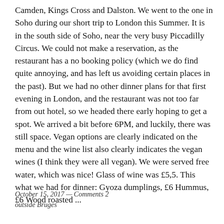Camden, Kings Cross and Dalston. We went to the one in Soho during our short trip to London this Summer. It is in the south side of Soho, near the very busy Piccadilly Circus. We could not make a reservation, as the restaurant has a no booking policy (which we do find quite annoying, and has left us avoiding certain places in the past). But we had no other dinner plans for that first evening in London, and the restaurant was not too far from out hotel, so we headed there early hoping to get a spot. We arrived a bit before 6PM, and luckily, there was still space. Vegan options are clearly indicated on the menu and the wine list also clearly indicates the vegan wines (I think they were all vegan). We were served free water, which was nice! Glass of wine was £5,5. This what we had for dinner: Gyoza dumplings, £6 Hummus, £6 Wood roasted ...
October 15, 2017 — Comments 2
outside Bruges